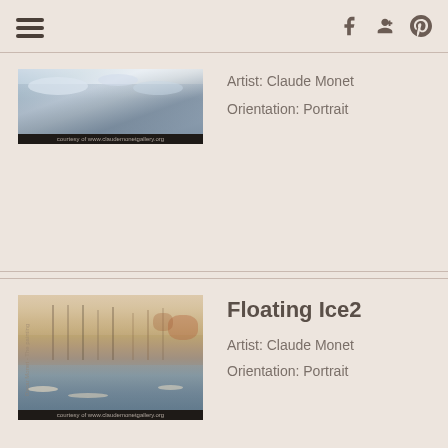navigation and social icons
[Figure (photo): Painting by Claude Monet - a landscape with water and sky, blues and grays. Caption: courtesy of www.claudemonetgallery.org]
Artist: Claude Monet
Orientation: Portrait
Floating Ice2
[Figure (photo): Painting by Claude Monet - Floating Ice2, a river scene with ice, warm autumn colors, trees in background. Caption: courtesy of www.claudemonetgallery.org]
Artist: Claude Monet
Orientation: Portrait